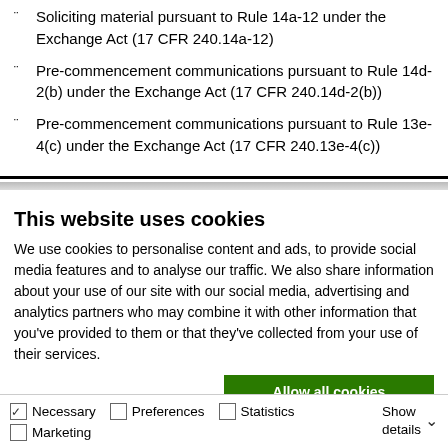Soliciting material pursuant to Rule 14a-12 under the Exchange Act (17 CFR 240.14a-12)
Pre-commencement communications pursuant to Rule 14d-2(b) under the Exchange Act (17 CFR 240.14d-2(b))
Pre-commencement communications pursuant to Rule 13e-4(c) under the Exchange Act (17 CFR 240.13e-4(c))
This website uses cookies
We use cookies to personalise content and ads, to provide social media features and to analyse our traffic. We also share information about your use of our site with our social media, advertising and analytics partners who may combine it with other information that you've provided to them or that they've collected from your use of their services.
Allow all cookies
Allow selection
Use necessary cookies only
Necessary  Preferences  Statistics  Marketing  Show details